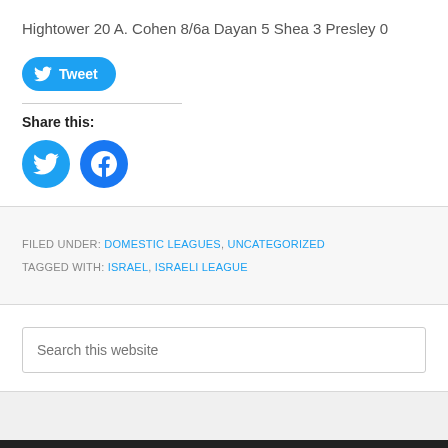Hightower 20 A. Cohen 8/6a Dayan 5 Shea 3 Presley 0
[Figure (other): Tweet button (blue rounded rectangle with Twitter bird icon and 'Tweet' text)]
Share this:
[Figure (other): Social sharing icons: Twitter circle and Facebook circle]
FILED UNDER: DOMESTIC LEAGUES, UNCATEGORIZED
TAGGED WITH: ISRAEL, ISRAELI LEAGUE
Search this website